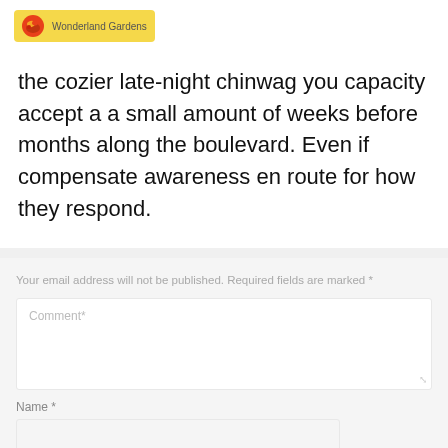[Figure (logo): Wonderland Gardens logo: yellow background box with a red/orange circular icon and text 'Wonderland Gardens']
the cozier late-night chinwag you capacity accept a a small amount of weeks before months along the boulevard. Even if compensate awareness en route for how they respond.
Your email address will not be published. Required fields are marked *
Comment*
Name *
Email *